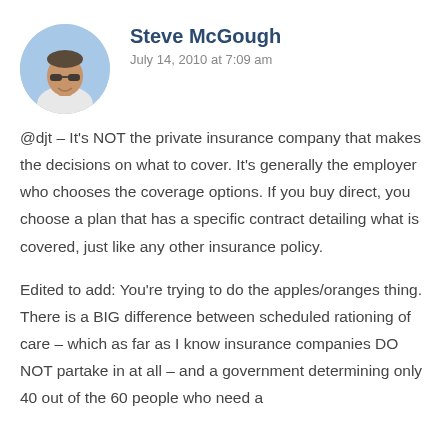Steve McGough
July 14, 2010 at 7:09 am
@djt – It's NOT the private insurance company that makes the decisions on what to cover. It's generally the employer who chooses the coverage options. If you buy direct, you choose a plan that has a specific contract detailing what is covered, just like any other insurance policy.
Edited to add: You're trying to do the apples/oranges thing. There is a BIG difference between scheduled rationing of care – which as far as I know insurance companies DO NOT partake in at all – and a government determining only 40 out of the 60 people who need a